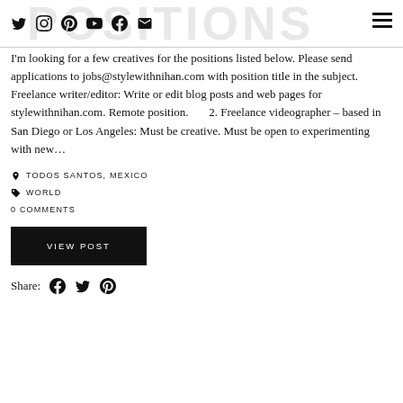POSITIONS (background watermark title)
I'm looking for a few creatives for the positions listed below. Please send applications to jobs@stylewithnihan.com with position title in the subject. Freelance writer/editor: Write or edit blog posts and web pages for stylewithnihan.com. Remote position.      2. Freelance videographer – based in San Diego or Los Angeles: Must be creative. Must be open to experimenting with new…
TODOS SANTOS, MEXICO
WORLD
0 COMMENTS
VIEW POST
Share: